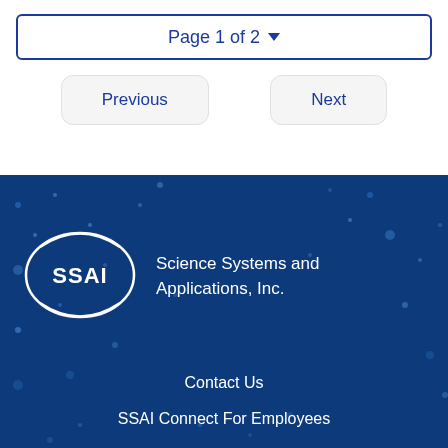Page 1 of 2
Previous
Next
[Figure (logo): SSAI logo - oval ellipse with SSAI text inside, white on dark blue background]
Science Systems and Applications, Inc.
Contact Us
SSAI Connect For Employees